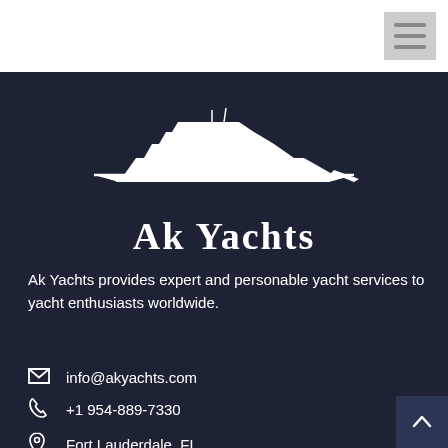[Figure (logo): Hamburger menu icon (three horizontal lines) in grey square at top right]
[Figure (logo): Ak Yachts logo: white silhouette of a motor yacht above a horizontal line, with text 'Ak Yachts' in white serif font on dark navy background]
Ak Yachts provides expert and personable yacht services to yacht enthusiasts worldwide.
info@akyachts.com
+1 954-889-7330
Fort Lauderdale, FL